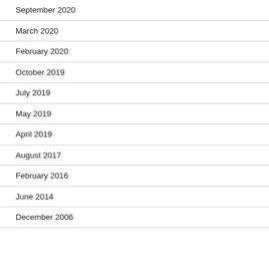September 2020
March 2020
February 2020
October 2019
July 2019
May 2019
April 2019
August 2017
February 2016
June 2014
December 2006